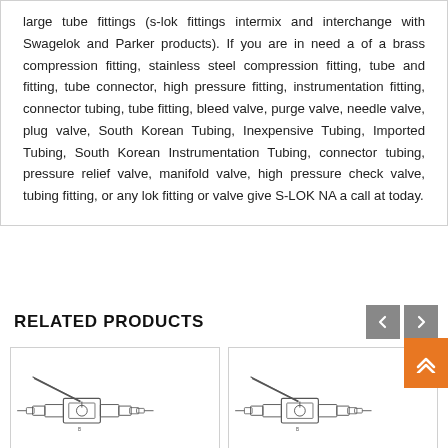large tube fittings (s-lok fittings intermix and interchange with Swagelok and Parker products). If you are in need a of a brass compression fitting, stainless steel compression fitting, tube and fitting, tube connector, high pressure fitting, instrumentation fitting, connector tubing, tube fitting, bleed valve, purge valve, needle valve, plug valve, South Korean Tubing, Inexpensive Tubing, Imported Tubing, South Korean Instrumentation Tubing, connector tubing, pressure relief valve, manifold valve, high pressure check valve, tubing fitting, or any lok fitting or valve give S-LOK NA a call at today.
RELATED PRODUCTS
[Figure (engineering-diagram): Technical line drawing of a ball valve with handle lever shown from the side, with tube fittings on both ends]
[Figure (engineering-diagram): Technical line drawing of a similar ball valve with handle lever shown from the side, with tube fittings on both ends]